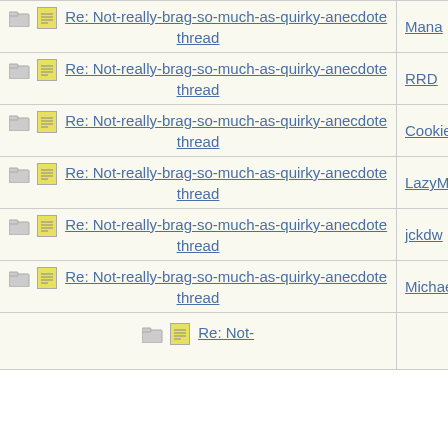| Subject | Author |
| --- | --- |
| Re: Not-really-brag-so-much-as-quirky-anecdote thread | Mana |
| Re: Not-really-brag-so-much-as-quirky-anecdote thread | RRD |
| Re: Not-really-brag-so-much-as-quirky-anecdote thread | Cookie |
| Re: Not-really-brag-so-much-as-quirky-anecdote thread | LazyMum |
| Re: Not-really-brag-so-much-as-quirky-anecdote thread | jckdw |
| Re: Not-really-brag-so-much-as-quirky-anecdote thread | Michaela |
| Re: Not-... |  |